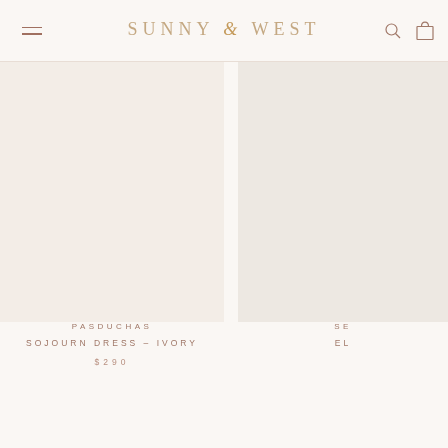SUNNY & WEST
[Figure (photo): Product photo area for Pasduchas Sojourn Dress - Ivory, large blank/light product image]
PASDUCHAS
SOJOURN DRESS – IVORY
$290
[Figure (photo): Partial product photo area for second product (cropped at right edge)]
SE...
EL...